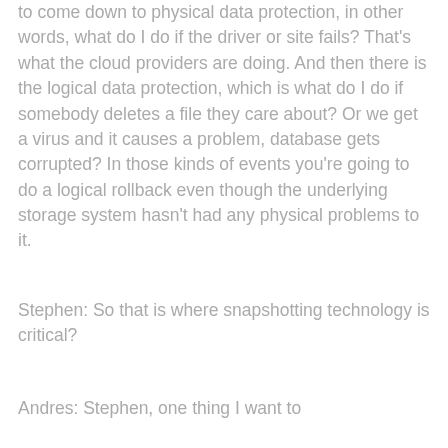to come down to physical data protection, in other words, what do I do if the driver or site fails? That's what the cloud providers are doing. And then there is the logical data protection, which is what do I do if somebody deletes a file they care about? Or we get a virus and it causes a problem, database gets corrupted? In those kinds of events you're going to do a logical rollback even though the underlying storage system hasn't had any physical problems to it.
Stephen: So that is where snapshotting technology is critical?
Andres: Stephen, one thing I want to